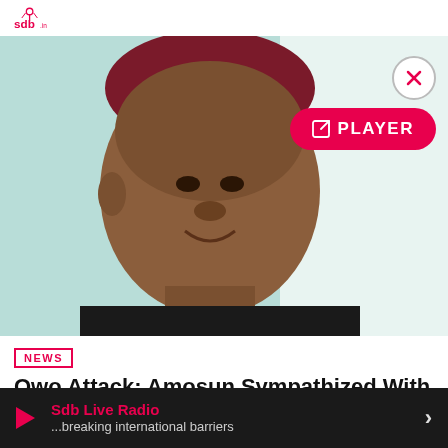[Figure (logo): SDB radio logo in red, top left corner]
[Figure (photo): Close-up portrait of a middle-aged African man wearing a dark outfit and a red/maroon traditional cap, smiling, against a light teal/mint background. A white overlay rectangle partially covers the right portion of the image.]
[Figure (other): Close (X) button circle — top right over image]
[Figure (other): Pink/red PLAYER button with external link icon — top right area]
NEWS
Owo Attack: Amosun Sympathized With The Victims Family Over The Church Attack By S...
Sdb Live Radio
...breaking international barriers